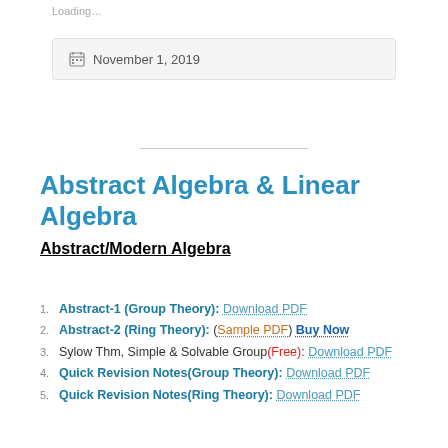Loading…
November 1, 2019
Abstract Algebra & Linear Algebra
Abstract/Modern Algebra
Abstract-1 (Group Theory): Download PDF
Abstract-2 (Ring Theory): (Sample PDF) Buy Now
Sylow Thm, Simple & Solvable Group(Free): Download PDF
Quick Revision Notes(Group Theory): Download PDF
Quick Revision Notes(Ring Theory): Download PDF